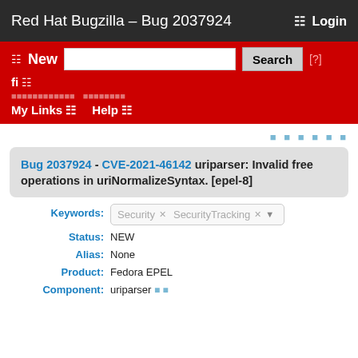Red Hat Bugzilla – Bug 2037924
New | Search | [?] | fi | My Links | Help
social share icons
Bug 2037924 - CVE-2021-46142 uriparser: Invalid free operations in uriNormalizeSyntax. [epel-8]
Keywords: Security  SecurityTracking
Status: NEW
Alias: None
Product: Fedora EPEL
Component: uriparser